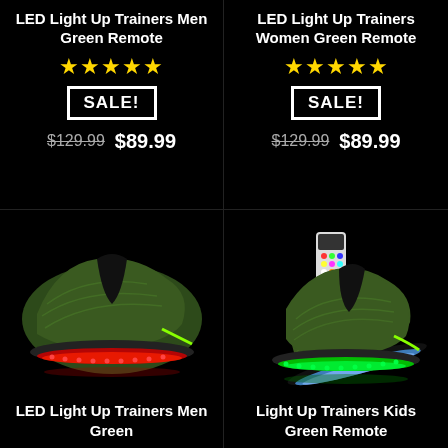LED Light Up Trainers Men Green Remote
★★★★★
SALE!
$129.99  $89.99
LED Light Up Trainers Women Green Remote
★★★★★
SALE!
$129.99  $89.99
[Figure (photo): LED light up trainer shoe (men's) glowing red underneath on black background]
LED Light Up Trainers Men Green
[Figure (photo): LED light up trainer shoes (kids) with remote control, glowing green and blue on black background]
Light Up Trainers Kids Green Remote